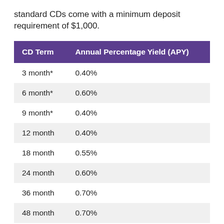standard CDs come with a minimum deposit requirement of $1,000.
| CD Term | Annual Percentage Yield (APY) |
| --- | --- |
| 3 month* | 0.40% |
| 6 month* | 0.60% |
| 9 month* | 0.40% |
| 12 month | 0.40% |
| 18 month | 0.55% |
| 24 month | 0.60% |
| 36 month | 0.70% |
| 48 month | 0.70% |